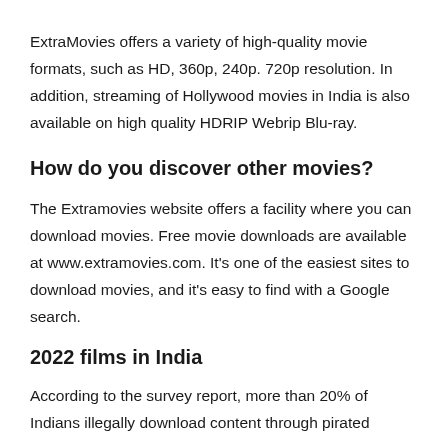ExtraMovies offers a variety of high-quality movie formats, such as HD, 360p, 240p. 720p resolution. In addition, streaming of Hollywood movies in India is also available on high quality HDRIP Webrip Blu-ray.
How do you discover other movies?
The Extramovies website offers a facility where you can download movies. Free movie downloads are available at www.extramovies.com. It's one of the easiest sites to download movies, and it's easy to find with a Google search.
2022 films in India
According to the survey report, more than 20% of Indians illegally download content through pirated